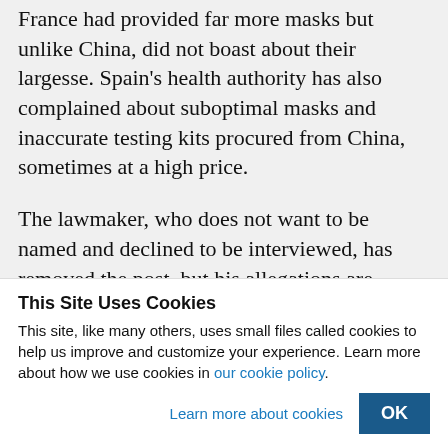France had provided far more masks but unlike China, did not boast about their largesse. Spain’s health authority has also complained about suboptimal masks and inaccurate testing kits procured from China, sometimes at a high price.
The lawmaker, who does not want to be named and declined to be interviewed, has removed the post. but his allegations are
This Site Uses Cookies
This site, like many others, uses small files called cookies to help us improve and customize your experience. Learn more about how we use cookies in our cookie policy.
Learn more about cookies
OK